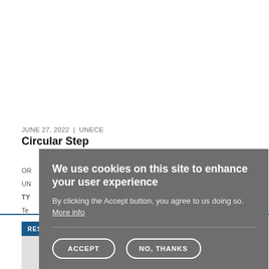JUNE 27, 2022  |  UNECE
Circular Step
OR
UN
TY
Te
[Figure (screenshot): Cookie consent overlay dialog with title 'We use cookies on this site to enhance your user experience', body text 'By clicking the Accept button, you agree to us doing so. More info', and two buttons: ACCEPT and NO, THANKS]
RESOURCE
(partial gray content area below resource bar)